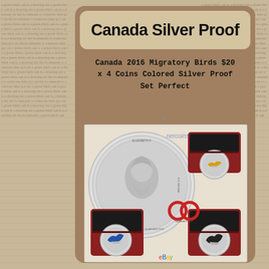Canada Silver Proof
Canada 2016 Migratory Birds $20 x 4 Coins Colored Silver Proof Set Perfect
[Figure (photo): Photo showing Canada 2016 Migratory Birds colored silver proof coins. Shows the obverse (Queen Elizabeth II portrait) of a large silver coin, and three red presentation boxes each containing a colored silver coin depicting migratory birds. Watermark 'nercoins' visible. eBay logo visible at bottom.]